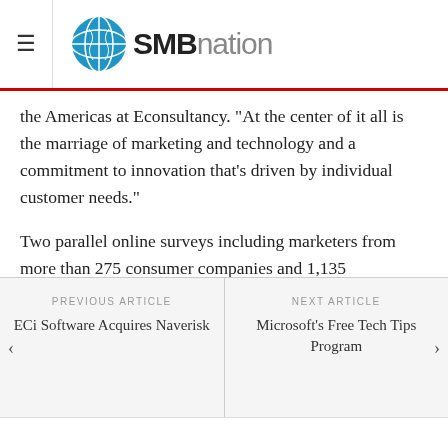SMBnation
the Americas at Econsultancy. “At the center of it all is the marriage of marketing and technology and a commitment to innovation that’s driven by individual customer needs.”
Two parallel online surveys including marketers from more than 275 consumer companies and 1,135 consumers, respectively, contributed to the development of the report, available in full here.
PREVIOUS ARTICLE
ECi Software Acquires Naverisk
NEXT ARTICLE
Microsoft’s Free Tech Tips Program